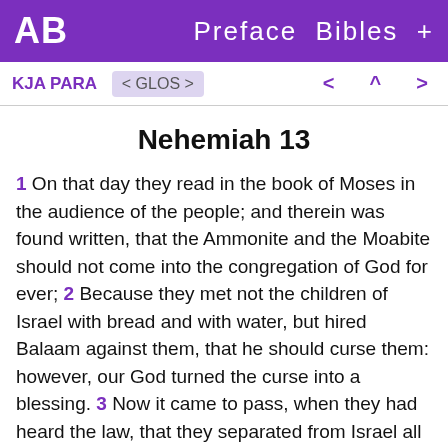AB  Preface  Bibles  +
KJA PARA  < GLOS >  < ^ >
Nehemiah 13
1 On that day they read in the book of Moses in the audience of the people; and therein was found written, that the Ammonite and the Moabite should not come into the congregation of God for ever; 2 Because they met not the children of Israel with bread and with water, but hired Balaam against them, that he should curse them: however, our God turned the curse into a blessing. 3 Now it came to pass, when they had heard the law, that they separated from Israel all the mixed multitude. 4 And before this, Eliashib the priest, having the oversight of the chamber of the house of our God, was allied to Tobiah: 5 And he had prepared for him a